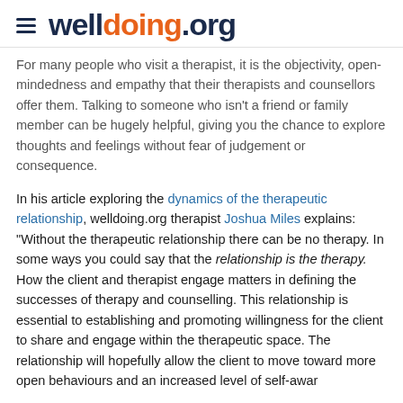welldoing.org
For many people who visit a therapist, it is the objectivity, open-mindedness and empathy that their therapists and counsellors offer them. Talking to someone who isn't a friend or family member can be hugely helpful, giving you the chance to explore thoughts and feelings without fear of judgement or consequence.
In his article exploring the dynamics of the therapeutic relationship, welldoing.org therapist Joshua Miles explains: "Without the therapeutic relationship there can be no therapy. In some ways you could say that the relationship is the therapy. How the client and therapist engage matters in defining the successes of therapy and counselling. This relationship is essential to establishing and promoting willingness for the client to share and engage within the therapeutic space. The relationship will hopefully allow the client to move toward more open behaviours and an increased level of self-awareness."